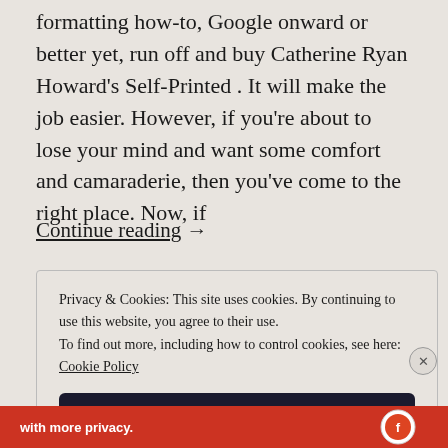formatting how-to, Google onward or better yet, run off and buy Catherine Ryan Howard's Self-Printed .  It will make the job easier.  However, if you're about to lose your mind and want some comfort and camaraderie, then you've come to the right place. Now, if
Continue reading  →
Privacy & Cookies: This site uses cookies. By continuing to use this website, you agree to their use.
To find out more, including how to control cookies, see here: Cookie Policy
Close and accept
[Figure (other): Bottom red banner with white text 'with more privacy.' and a circular logo/icon on the right]